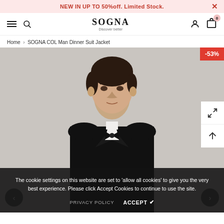NEW IN UP TO 50%off. Limited Stock.
[Figure (logo): SOGNA brand logo with tagline 'Discover better']
Home > SOGNA COL Man Dinner Suit Jacket
[Figure (photo): Man wearing a black dinner suit jacket with bow tie, -53% discount badge shown top right]
The cookie settings on this website are set to 'allow all cookies' to give you the very best experience. Please click Accept Cookies to continue to use the site.
PRIVACY POLICY    ACCEPT ✔